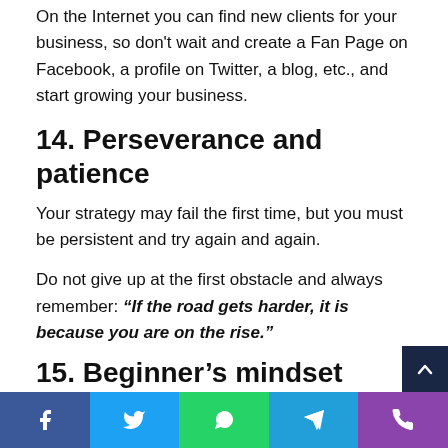On the Internet you can find new clients for your business, so don't wait and create a Fan Page on Facebook, a profile on Twitter, a blog, etc., and start growing your business.
14. Perseverance and patience
Your strategy may fail the first time, but you must be persistent and try again and again.
Do not give up at the first obstacle and always remember: "If the road gets harder, it is because you are on the rise."
15. Beginner's mindset
I want to end this article with a thought of Steve Jobs, he relates that at some point in his life he had to start from scratch, he had the possibility of being a beginner again. No